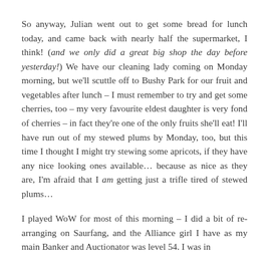So anyway, Julian went out to get some bread for lunch today, and came back with nearly half the supermarket, I think! (and we only did a great big shop the day before yesterday!) We have our cleaning lady coming on Monday morning, but we'll scuttle off to Bushy Park for our fruit and vegetables after lunch – I must remember to try and get some cherries, too – my very favourite eldest daughter is very fond of cherries – in fact they're one of the only fruits she'll eat! I'll have run out of my stewed plums by Monday, too, but this time I thought I might try stewing some apricots, if they have any nice looking ones available… because as nice as they are, I'm afraid that I am getting just a trifle tired of stewed plums…
I played WoW for most of this morning – I did a bit of re-arranging on Saurfang, and the Alliance girl I have as my main Banker and Auctionator was level 54. I was in